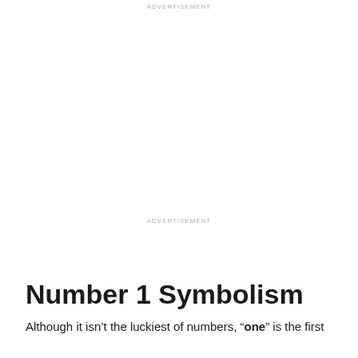ADVERTISEMENT
ADVERTISEMENT
Number 1 Symbolism
Although it isn't the luckiest of numbers, “one” is the first